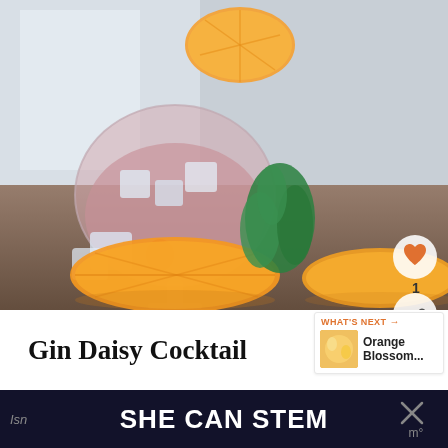[Figure (photo): Two cocktail glasses with pink/red gin drinks garnished with orange slices and fresh mint leaves, with ice cubes and orange slices on a reflective surface]
Gin Daisy Cocktail
WHAT'S NEXT → Orange Blossom...
Isn SHE CAN STEM